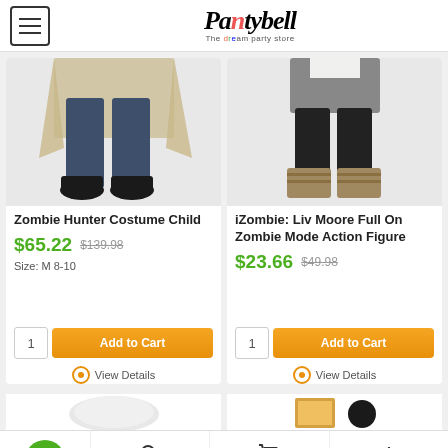Partybell - The Dream Party Store
[Figure (screenshot): Product card image showing lower half of zombie hunter costume child - jeans, boots, and cape]
Zombie Hunter Costume Child
$65.22  $139.98
Size: M 8-10
1  Add to Cart
View Details
[Figure (screenshot): Product card image showing lower half of iZombie Liv Moore costume - skirt and boots]
iZombie: Liv Moore Full On Zombie Mode Action Figure
$23.66  $49.98
1  Add to Cart
View Details
[Figure (screenshot): Bottom strip showing partial product images - white fluffy item and boxed toy with black sphere]
SEARCH  CART (0)  TOP